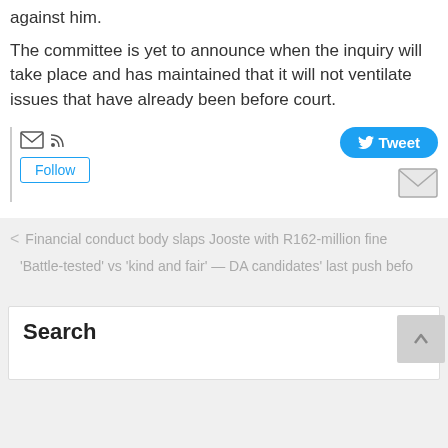against him.
The committee is yet to announce when the inquiry will take place and has maintained that it will not ventilate issues that have already been before court.
[Figure (screenshot): Social media sharing buttons: Tweet button (blue, with Twitter bird icon), email/envelope icon, RSS icon, Follow button, and a second envelope icon]
Financial conduct body slaps Jooste with R162-million fine
'Battle-tested' vs 'kind and fair' — DA candidates' last push befo
Search